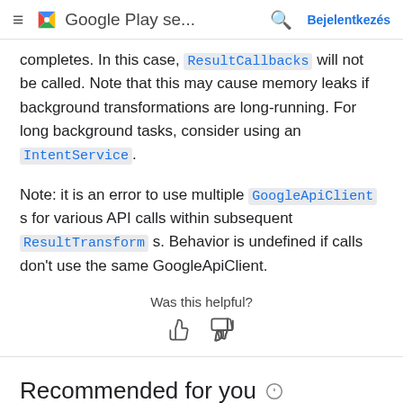Google Play se... Bejelentkezés
completes. In this case, ResultCallbacks will not be called. Note that this may cause memory leaks if background transformations are long-running. For long background tasks, consider using an IntentService.
Note: it is an error to use multiple GoogleApiClient s for various API calls within subsequent ResultTransform s. Behavior is undefined if calls don't use the same GoogleApiClient.
Was this helpful?
Recommended for you